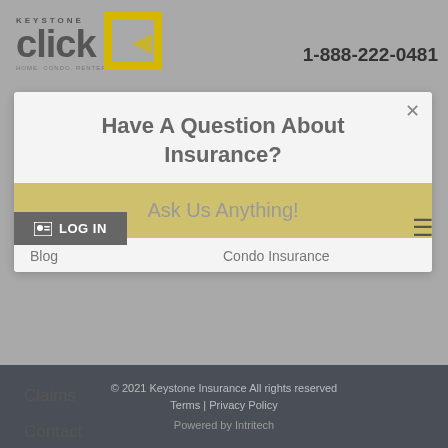[Figure (logo): Keystone Click logo with yellow square accent, home/condo/renters insurance tagline]
1-888-222-0481
Have A Question About Insurance?
Ask Us Anything!
LOG IN
Blog
Condo Insurance
Claims
Contact
© 2021 Keystone Insurance All rights reserved
Terms | Privacy Policy
Powered by Intritech